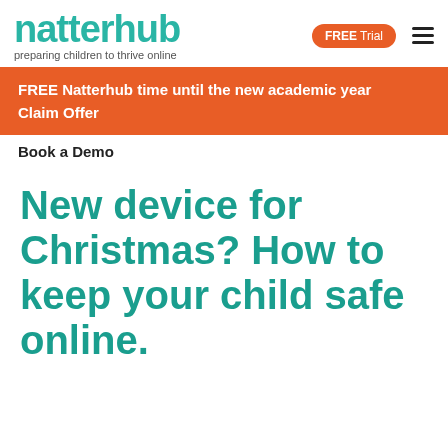natterhub — preparing children to thrive online — FREE Trial
FREE Natterhub time until the new academic year
Claim Offer
Book a Demo
New device for Christmas? How to keep your child safe online.